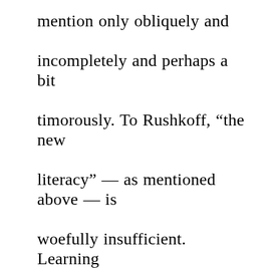mention only obliquely and incompletely and perhaps a bit timorously. To Rushkoff, “the new literacy” — as mentioned above — is woefully insufficient. Learning “spreadsheet skills”⁷ like data-entry and copy/paste and sorting/filtering is ultimately just cranking out more